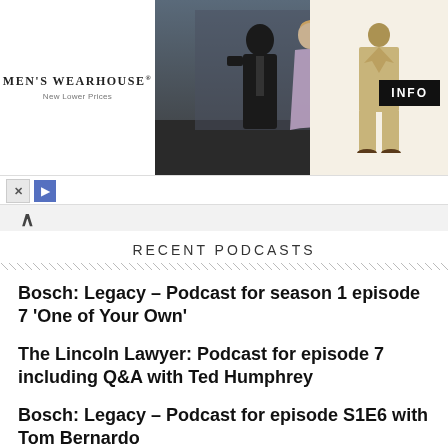[Figure (screenshot): Men's Wearhouse advertisement banner with couple in formal wear and tan suit on right side]
RECENT PODCASTS
Bosch: Legacy – Podcast for season 1 episode 7 'One of Your Own'
The Lincoln Lawyer: Podcast for episode 7 including Q&A with Ted Humphrey
Bosch: Legacy – Podcast for episode S1E6 with Tom Bernardo